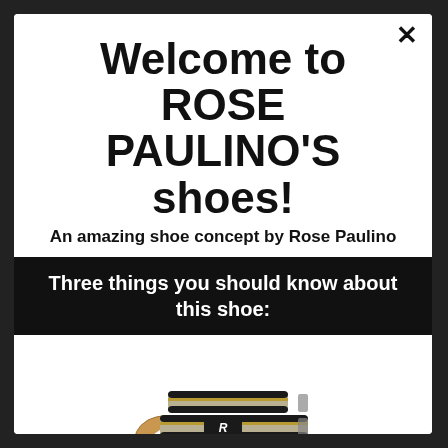Welcome to ROSE PAULINO'S shoes!
An amazing shoe concept by Rose Paulino
Three things you should know about this shoe:
[Figure (photo): A sandal/slide shoe with dark straps featuring a logo, tan footbed, and red sole.]
Rose Paulino is the designer of this shoe concept.